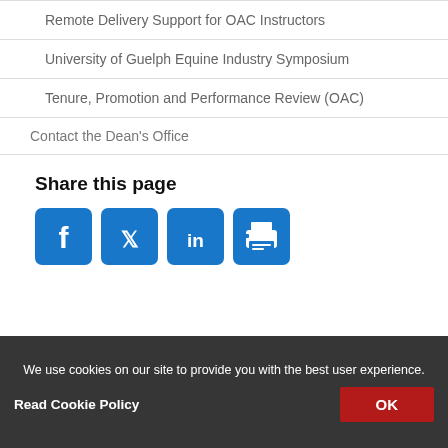Remote Delivery Support for OAC Instructors
University of Guelph Equine Industry Symposium
Tenure, Promotion and Performance Review (OAC)
Contact the Dean's Office
Share this page
[Figure (infographic): Social sharing icons: Facebook, Twitter, LinkedIn, Print — blue rounded square icons]
About
We use cookies on our site to provide you with the best user experience.
Read Cookie Policy
OK